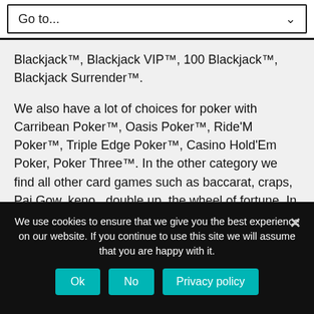Go to...
Blackjack™, Blackjack VIP™, 100 Blackjack™, Blackjack Surrender™.
We also have a lot of choices for poker with Carribean Poker™, Oasis Poker™, Ride'M Poker™, Triple Edge Poker™, Casino Hold'Em Poker, Poker Three™. In the other category we find all other card games such as baccarat, craps, Pai Gow, keno , double up, the wheel of fortune. In short as you can see the gaming offer of the Casino Spicy Spins is absolutely huge. The section of live dealers for fans, those who prefer to see someone in front is also well expanded.
We use cookies to ensure that we give you the best experience on our website. If you continue to use this site we will assume that you are happy with it.